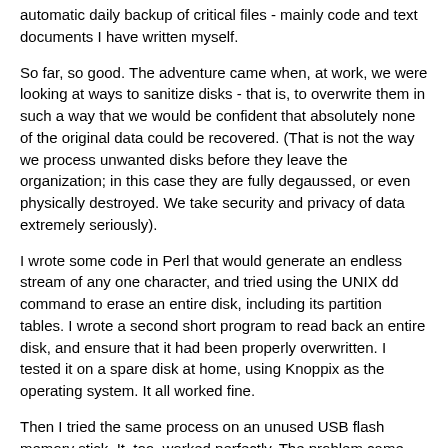automatic daily backup of critical files - mainly code and text documents I have written myself.
So far, so good. The adventure came when, at work, we were looking at ways to sanitize disks - that is, to overwrite them in such a way that we would be confident that absolutely none of the original data could be recovered. (That is not the way we process unwanted disks before they leave the organization; in this case they are fully degaussed, or even physically destroyed. We take security and privacy of data extremely seriously).
I wrote some code in Perl that would generate an endless stream of any one character, and tried using the UNIX dd command to erase an entire disk, including its partition tables. I wrote a second short program to read back an entire disk, and ensure that it had been properly overwritten. I tested it on a spare disk at home, using Knoppix as the operating system. It all worked fine.
Then I tried the same process on an unused USB flash memory stick. It, too, worked perfectly. The problem came when I tried to recreate the partition tables. Windows 2000 refused to reformat a disk that was all zeroes (or all ones), and the parameters in what it thought was the partition table were garbage. So I tried recreating the partition table from FreeBSD. You can do it interactively, but I tried writing a configuration file, and using that as a parameter to "fdisk". Commands like "fdisk -f configfile da0" will do the trick. It worked well, until I forgot to